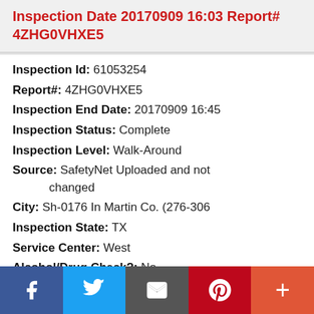Inspection Date 20170909 16:03 Report# 4ZHG0VHXE5
Inspection Id: 61053254
Report#: 4ZHG0VHXE5
Inspection End Date: 20170909 16:45
Inspection Status: Complete
Inspection Level: Walk-Around
Source: SafetyNet Uploaded and not changed
City: Sh-0176 In Martin Co. (276-306
Inspection State: TX
Service Center: West
Alcohol/Drug Check?: No
Social share bar: Facebook, Twitter, Email, Pinterest, More